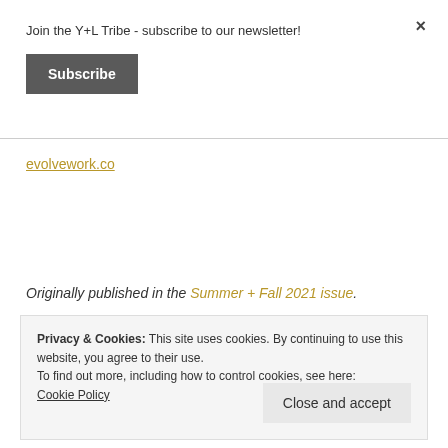Join the Y+L Tribe - subscribe to our newsletter!
Subscribe
×
evolvework.co
Originally published in the Summer + Fall 2021 issue.
Privacy & Cookies: This site uses cookies. By continuing to use this website, you agree to their use.
To find out more, including how to control cookies, see here:
Cookie Policy
Close and accept